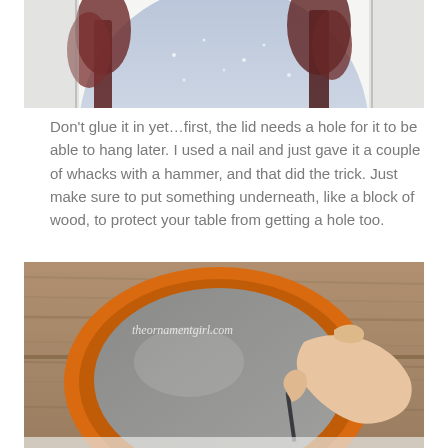[Figure (photo): Top portion of a decorative round tin lid with a winter scene painting (snowy landscape with dark trees), placed on a striped background, partially cropped at top.]
Don't glue it in yet…first, the lid needs a hole for it to be able to hang later. I used a nail and just gave it a couple of whacks with a hammer, and that did the trick. Just make sure to put something underneath, like a block of wood, to protect your table from getting a hole too.
[Figure (photo): Close-up photo of a hand holding a nail against the orange rim of a round tin lid resting on a wooden surface, demonstrating how to punch a hole. Watermark reads 'theornamentgirl.com'.]